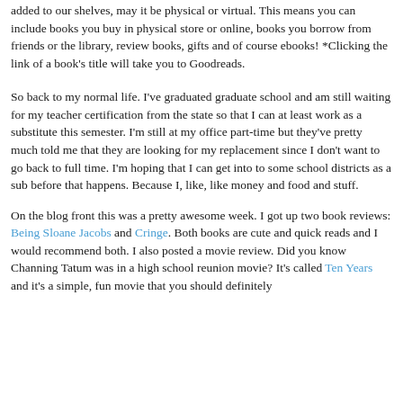added to our shelves, may it be physical or virtual. This means you can include books you buy in physical store or online, books you borrow from friends or the library, review books, gifts and of course ebooks! *Clicking the link of a book's title will take you to Goodreads.
So back to my normal life. I've graduated graduate school and am still waiting for my teacher certification from the state so that I can at least work as a substitute this semester. I'm still at my office part-time but they've pretty much told me that they are looking for my replacement since I don't want to go back to full time. I'm hoping that I can get into to some school districts as a sub before that happens. Because I, like, like money and food and stuff.
On the blog front this was a pretty awesome week. I got up two book reviews: Being Sloane Jacobs and Cringe. Both books are cute and quick reads and I would recommend both. I also posted a movie review. Did you know Channing Tatum was in a high school reunion movie? It's called Ten Years and it's a simple, fun movie that you should definitely